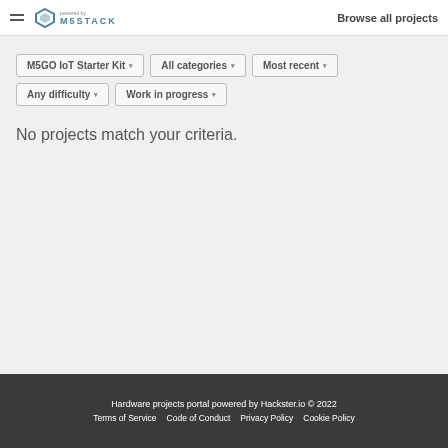M5STACK | Browse all projects
M5GO IoT Starter Kit ▾   All categories ▾   Most recent ▾   Any difficulty ▾   Work in progress ▾
No projects match your criteria.
Hardware projects portal powered by Hackster.io © 2022
Terms of Service   Code of Conduct   Privacy Policy   Cookie Policy